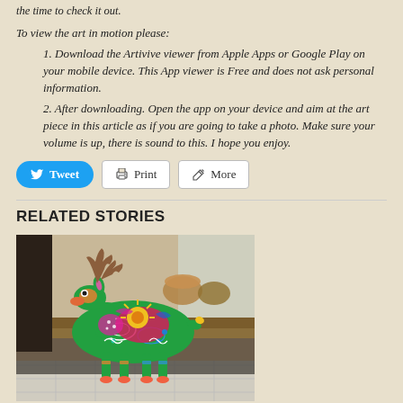the time to check it out.
To view the art in motion please:
1. Download the Artivive viewer from Apple Apps or Google Play on your mobile device. This App viewer is Free and does not ask personal information.
2. After downloading. Open the app on your device and aim at the art piece in this article as if you are going to take a photo. Make sure your volume is up, there is sound to this. I hope you enjoy.
[Figure (other): Social sharing buttons: Tweet, Print, More]
RELATED STORIES
[Figure (photo): A colorful painted decorative animal sculpture (alebrije-style deer/moose) with vivid patterns in green, red, yellow, blue, and pink, displayed indoors on a tiled floor.]